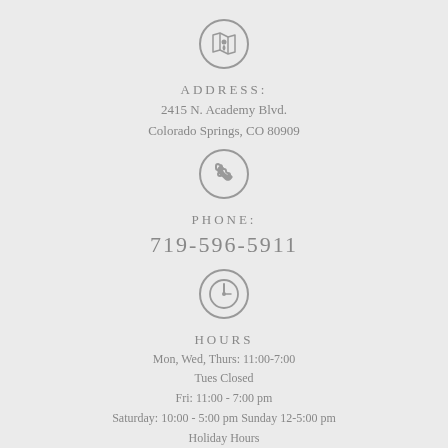[Figure (illustration): Map/location pin icon inside a circle]
ADDRESS:
2415 N. Academy Blvd.
Colorado Springs, CO 80909
[Figure (illustration): Phone handset icon inside a circle]
PHONE:
719-596-5911
[Figure (illustration): Clock icon inside a circle]
HOURS
Mon, Wed, Thurs: 11:00-7:00
Tues Closed
Fri: 11:00 - 7:00 pm
Saturday: 10:00 - 5:00 pm Sunday 12-5:00 pm
Holiday Hours